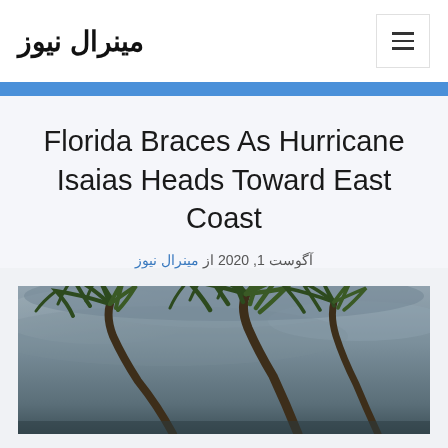مینرال نیوز
Florida Braces As Hurricane Isaias Heads Toward East Coast
از مینرال نیوز 2020 ,1 آگوست
[Figure (photo): Palm trees bending in strong winds against a stormy grey sky, depicting hurricane conditions]